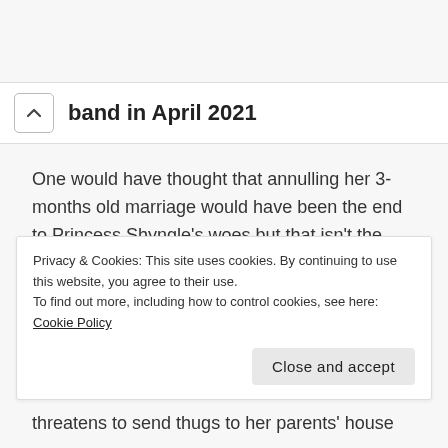band in April 2021
One would have thought that annulling her 3-months old marriage would have been the end to Princess Shyngle's woes but that isn't the case.
The actress has taken to Instagram on August 9, 2021, to accuse her ex-husband has been...
Privacy & Cookies: This site uses cookies. By continuing to use this website, you agree to their use.
To find out more, including how to control cookies, see here: Cookie Policy
threatens to send thugs to her parents' house